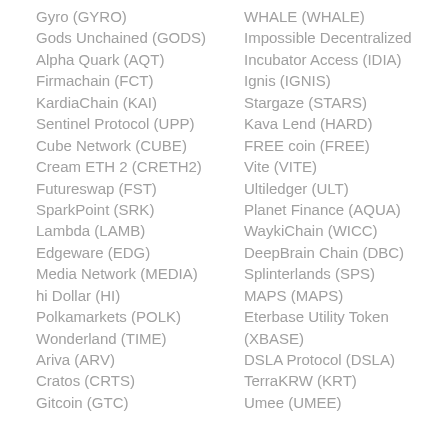Gyro (GYRO)
Gods Unchained (GODS)
Alpha Quark (AQT)
Firmachain (FCT)
KardiaChain (KAI)
Sentinel Protocol (UPP)
Cube Network (CUBE)
Cream ETH 2 (CRETH2)
Futureswap (FST)
SparkPoint (SRK)
Lambda (LAMB)
Edgeware (EDG)
Media Network (MEDIA)
hi Dollar (HI)
Polkamarkets (POLK)
Wonderland (TIME)
Ariva (ARV)
Cratos (CRTS)
Gitcoin (GTC)
WHALE (WHALE)
Impossible Decentralized Incubator Access (IDIA)
Ignis (IGNIS)
Stargaze (STARS)
Kava Lend (HARD)
FREE coin (FREE)
Vite (VITE)
Ultiledger (ULT)
Planet Finance (AQUA)
WaykiChain (WICC)
DeepBrain Chain (DBC)
Splinterlands (SPS)
MAPS (MAPS)
Eterbase Utility Token (XBASE)
DSLA Protocol (DSLA)
TerraKRW (KRT)
Umee (UMEE)